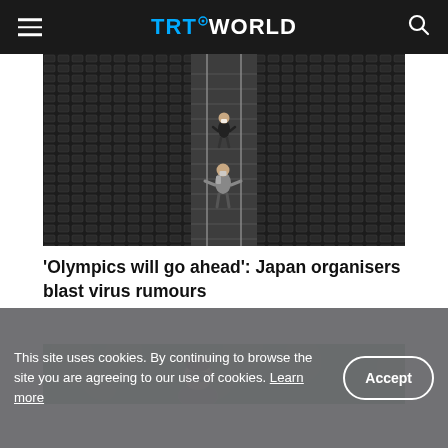TRT WORLD
[Figure (photo): Empty arena/stadium seating with two masked people walking down stairs in the center aisle]
'Olympics will go ahead': Japan organisers blast virus rumours
[Figure (photo): Person wearing a face mask in front of a green patterned background]
This site uses cookies. By continuing to browse the site you are agreeing to our use of cookies. Learn more